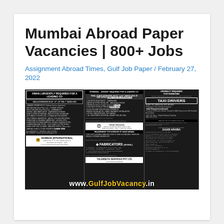Mumbai Abroad Paper Vacancies | 800+ Jobs
Assignment Abroad Times, Gulf Job Paper / February 27, 2022
[Figure (photo): Newspaper clipping showing job advertisements for Oman, Romania, Dubai/UAE, Saudi Arabia and other Gulf countries with multiple job vacancies listed. Website watermark www.GulfJobVacancy.in visible at bottom.]